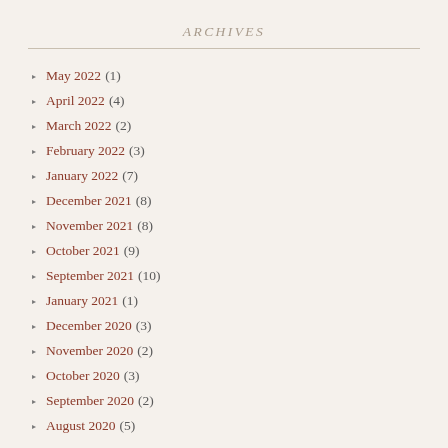ARCHIVES
May 2022 (1)
April 2022 (4)
March 2022 (2)
February 2022 (3)
January 2022 (7)
December 2021 (8)
November 2021 (8)
October 2021 (9)
September 2021 (10)
January 2021 (1)
December 2020 (3)
November 2020 (2)
October 2020 (3)
September 2020 (2)
August 2020 (5)